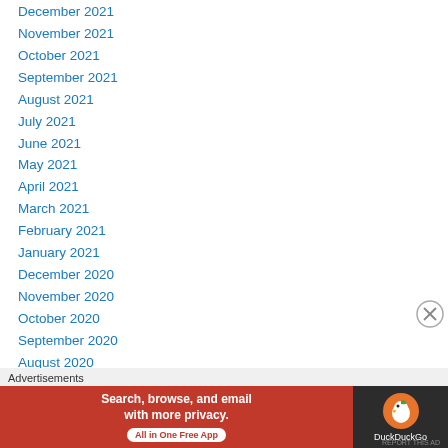December 2021
November 2021
October 2021
September 2021
August 2021
July 2021
June 2021
May 2021
April 2021
March 2021
February 2021
January 2021
December 2020
November 2020
October 2020
September 2020
August 2020
Advertisements
[Figure (other): DuckDuckGo advertisement banner: 'Search, browse, and email with more privacy. All in One Free App' with DuckDuckGo logo on dark background]